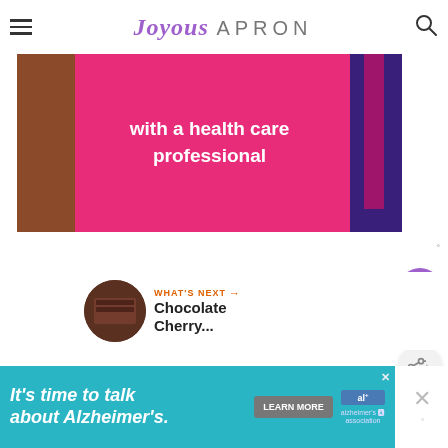Joyous APRON
[Figure (illustration): Pink/magenta banner image with text 'with a health care professional' in white, flanked by illustrated figures in brown and purple on a bright pink background]
5
WHAT'S NEXT → Chocolate Cherry...
[Figure (illustration): Advertisement banner: 'It's time to talk about Alzheimer's.' with LEARN MORE button and Alzheimer's Association logo on teal/cyan background]